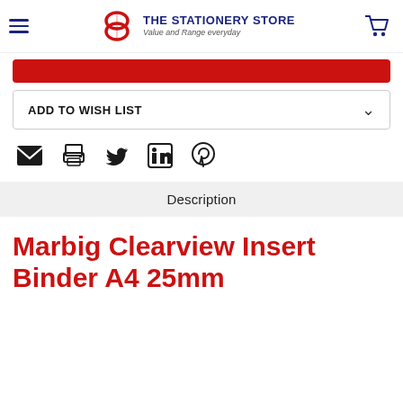THE STATIONERY STORE — Value and Range everyday
[Figure (screenshot): Red add to cart button (partially visible)]
ADD TO WISH LIST
[Figure (infographic): Social share icons: email, print, Twitter, LinkedIn, Pinterest]
Description
Marbig Clearview Insert Binder A4 25mm